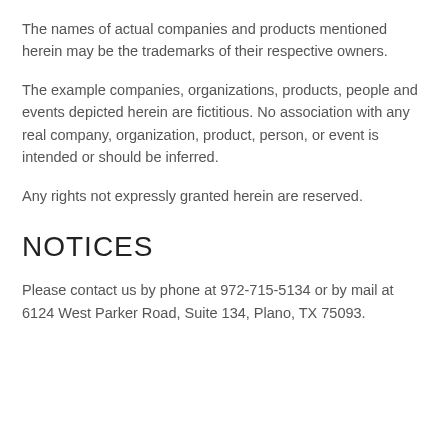The names of actual companies and products mentioned herein may be the trademarks of their respective owners.
The example companies, organizations, products, people and events depicted herein are fictitious. No association with any real company, organization, product, person, or event is intended or should be inferred.
Any rights not expressly granted herein are reserved.
NOTICES
Please contact us by phone at 972-715-5134 or by mail at 6124 West Parker Road, Suite 134, Plano, TX 75093.